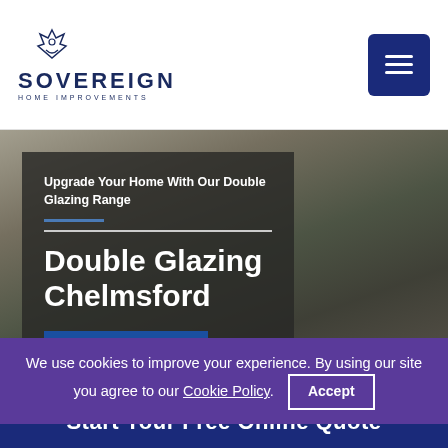[Figure (logo): Sovereign Home Improvements logo with crown icon and company name]
[Figure (illustration): Hamburger menu button, dark blue square with three horizontal white lines]
[Figure (photo): Background photo of a modern glass door/window installation]
Upgrade Your Home With Our Double Glazing Range
Double Glazing Chelmsford
GET A QUOTE
We use cookies to improve your experience. By using our site you agree to our Cookie Policy.  Accept
Start Your Free Online Quote